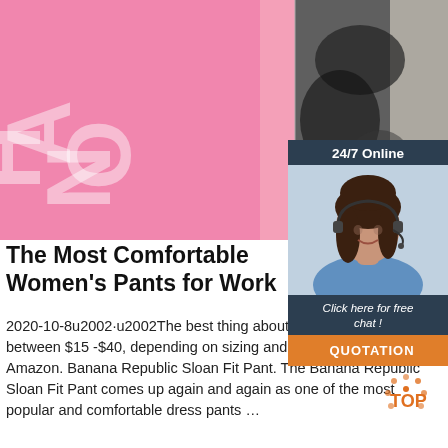[Figure (photo): Top banner image showing a pink background with large white letters and a black/white floral patterned fabric on the right side.]
[Figure (infographic): 24/7 Online chat widget on the right with a woman wearing a headset, text 'Click here for free chat!' and an orange QUOTATION button.]
The Most Comfortable Women's Pants for Work
2020-10-8u2002·u2002The best thing about the price; they run between $15 -$40, depending on sizing and colors. Available from Amazon. Banana Republic Sloan Fit Pant. The Banana Republic Sloan Fit Pant comes up again and again as one of the most popular and comfortable dress pants …